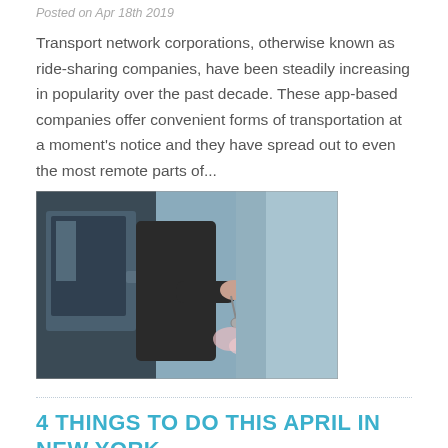Posted on Apr 18th 2019
Transport network corporations, otherwise known as ride-sharing companies, have been steadily increasing in popularity over the past decade. These app-based companies offer convenient forms of transportation at a moment's notice and they have spread out to even the most remote parts of...
[Figure (photo): Person in dark suit opening a car door, holding keys, with flowers visible]
4 THINGS TO DO THIS APRIL IN NEW YORK
Posted on Apr 3rd 2019
New York is known as the city that never sleeps, but even for such a nocturnal city, the cold can really slow things down. But now that spring is following the warmth of all